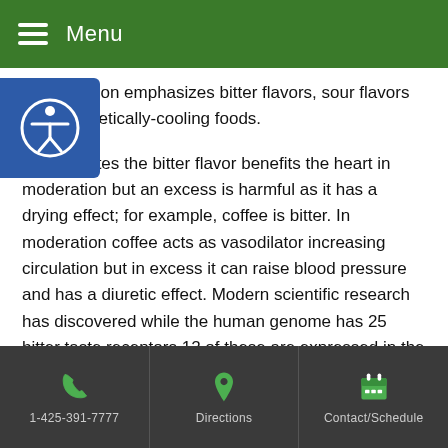Menu
hypertension emphasizes bitter flavors, sour flavors and energetically-cooling foods.
...theory states the bitter flavor benefits the heart in moderation but an excess is harmful as it has a drying effect; for example, coffee is bitter. In moderation coffee acts as vasodilator increasing circulation but in excess it can raise blood pressure and has a diuretic effect. Modern scientific research has discovered while the human genome has 25 bitter taste receptors 12 of these are expressed in the human heart.
Foods with bitter flavors include: romaine lettuce, dandelion, arugula, rye. Foods that combine bitter with pungency include: citrus peel, radish, scallion and white pepper. In OM nutrition the pungent flavor can help disperse phlegm (e.g. plaque). Foods that combine bitter with
1-425-391-7777 | Directions | Contact/Schedule